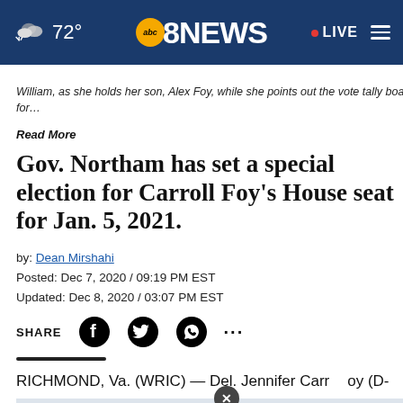72° | ABC 8NEWS | LIVE
William, as she holds her son, Alex Foy, while she points out the vote tally board for…
Read More
Gov. Northam has set a special election for Carroll Foy's House seat for Jan. 5, 2021.
by: Dean Mirshahi
Posted: Dec 7, 2020 / 09:19 PM EST
Updated: Dec 8, 2020 / 03:07 PM EST
SHARE
RICHMOND, Va. (WRIC) — Del. Jennifer Carroll Foy (D-Prince… the House of Delegates to focus on her run for Virginia…